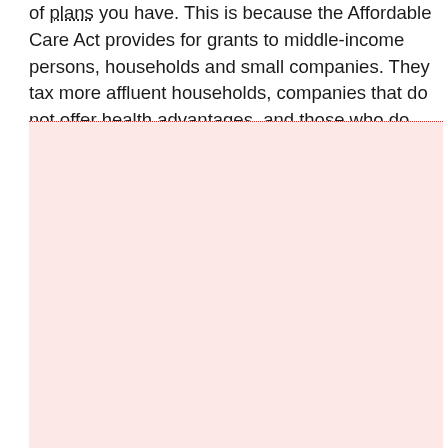of plans you have. This is because the Affordable Care Act provides for grants to middle-income persons, households and small companies. They tax more affluent households, companies that do not offer health advantages, and those who do not register for insurance unless they are not.
[Figure (other): Large pink/light red rectangular box with a dotted red top border, occupying the lower two-thirds of the page.]